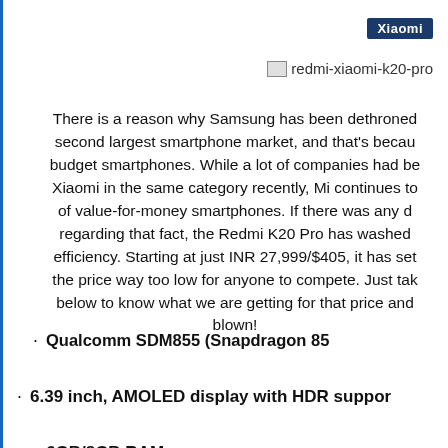Xiaomi
[Figure (other): Image placeholder for redmi-xiaomi-k20-pro]
There is a reason why Samsung has been dethroned second largest smartphone market, and that's because budget smartphones. While a lot of companies had be Xiaomi in the same category recently, Mi continues to of value-for-money smartphones. If there was any d regarding that fact, the Redmi K20 Pro has washed efficiency. Starting at just INR 27,999/$405, it has set the price way too low for anyone to compete. Just tak below to know what we are getting for that price and blown!
Qualcomm SDM855 (Snapdragon 855
6.39 inch, AMOLED display with HDR suppor
6GB/8GB RAM